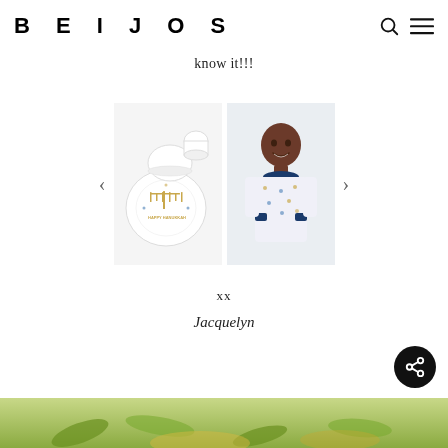BEIJOS
know it!!!
[Figure (photo): Carousel with two product images: left shows Hanukkah-themed dishware (plate, bowl, cup), right shows a young child wearing Hanukkah-pattern pajamas. Navigation arrows on each side.]
xx
Jacquelyn
[Figure (photo): Bottom partial photo showing greenery/herbs and what appears to be food, olive/golden tones.]